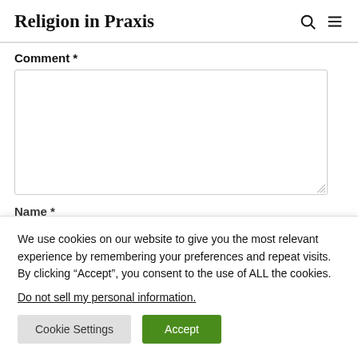Religion in Praxis
Comment *
We use cookies on our website to give you the most relevant experience by remembering your preferences and repeat visits. By clicking “Accept”, you consent to the use of ALL the cookies.
Do not sell my personal information.
Cookie Settings  Accept